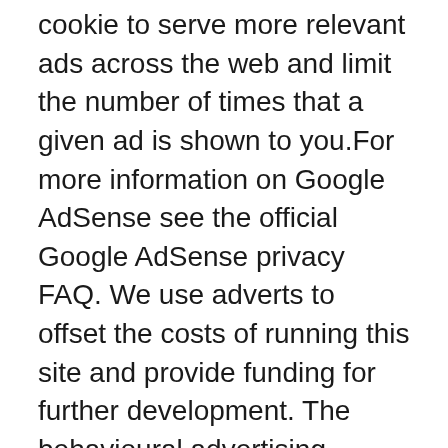cookie to serve more relevant ads across the web and limit the number of times that a given ad is shown to you.For more information on Google AdSense see the official Google AdSense privacy FAQ. We use adverts to offset the costs of running this site and provide funding for further development. The behavioural advertising cookies used by this site are designed to ensure that we provide you with the most relevant adverts where possible by anonymously tracking your interests and presenting similar things that may be of interest.